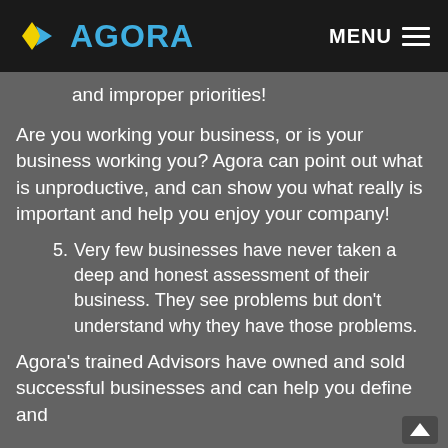AGORA | MENU
and improper priorities!
Are you working your business, or is your business working you? Agora can point out what is unproductive, and can show you what really is important and help you enjoy your company!
5. Very few businesses have never taken a deep and honest assessment of their business. They see problems but don't understand why they have those problems.
Agora's trained Advisors have owned and sold successful businesses and can help you define and